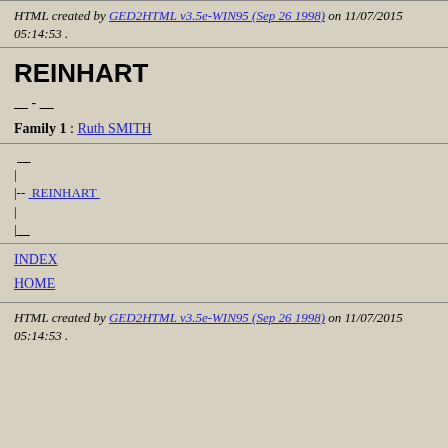HTML created by GED2HTML v3.5e-WIN95 (Sep 26 1998) on 11/07/2015 05:14:53 .
REINHART
____ - ____
Family 1 : Ruth SMITH
__
|
|-- REINHART
|
|__
INDEX
HOME
HTML created by GED2HTML v3.5e-WIN95 (Sep 26 1998) on 11/07/2015 05:14:53 .